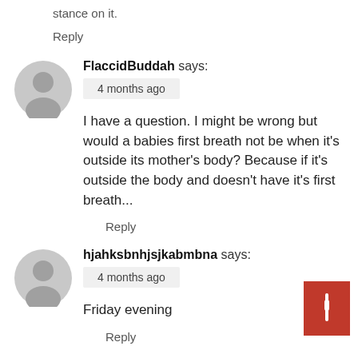stance on it.
Reply
[Figure (illustration): Gray circular avatar with silhouette of a person (head and shoulders)]
FlaccidBuddah says:
4 months ago
I have a question. I might be wrong but would a babies first breath not be when it's outside its mother's body? Because if it's outside the body and doesn't have it's first breath...
Reply
[Figure (illustration): Gray circular avatar with silhouette of a person (head and shoulders)]
hjahksbnhjsjkabmbna says:
4 months ago
Friday evening
Reply